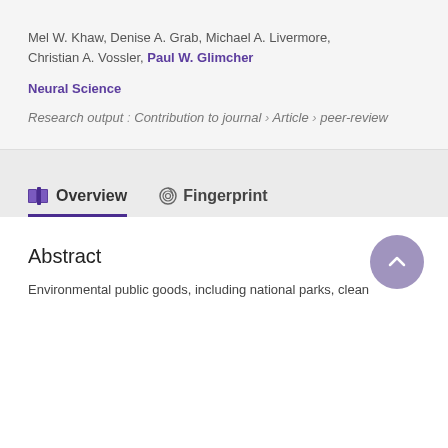Mel W. Khaw, Denise A. Grab, Michael A. Livermore, Christian A. Vossler, Paul W. Glimcher
Neural Science
Research output : Contribution to journal › Article › peer-review
Overview
Fingerprint
Abstract
Environmental public goods, including national parks, clean